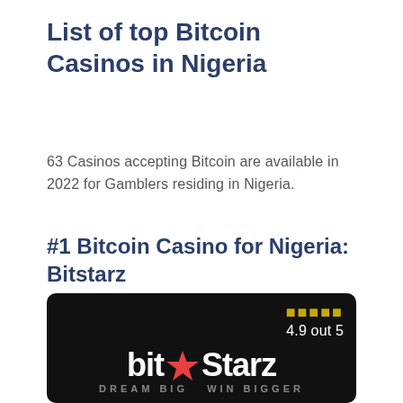List of top Bitcoin Casinos in Nigeria
63 Casinos accepting Bitcoin are available in 2022 for Gamblers residing in Nigeria.
#1 Bitcoin Casino for Nigeria: Bitstarz
[Figure (screenshot): Bitstarz casino logo on dark background with rating 4.9 out 5 and stars, tagline DREAM BIG WIN BIGGER]